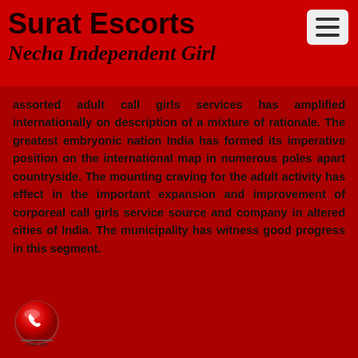Surat Escorts
Necha Independent Girl
assorted adult call girls services has amplified internationally on description of a mixture of rationale. The greatest embryonic nation India has formed its imperative position on the international map in numerous poles apart countryside. The mounting craving for the adult activity has effect in the important expansion and improvement of corporeal call girls service source and company in altered cities of India. The municipality has witness good progress in this segment.
[Figure (illustration): Red circular call button icon with a phone handset symbol and 'CALL US' text below]